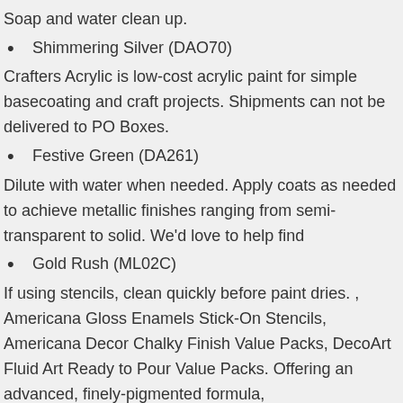Soap and water clean up.
Shimmering Silver (DAO70)
Crafters Acrylic is low-cost acrylic paint for simple basecoating and craft projects. Shipments can not be delivered to PO Boxes.
Festive Green (DA261)
Dilute with water when needed. Apply coats as needed to achieve metallic finishes ranging from semi-transparent to solid. We'd love to help find
Gold Rush (ML02C)
If using stencils, clean quickly before paint dries. , Americana Gloss Enamels Stick-On Stencils, Americana Decor Chalky Finish Value Packs, DecoArt Fluid Art Ready to Pour Value Packs. Offering an advanced, finely-pigmented formula,